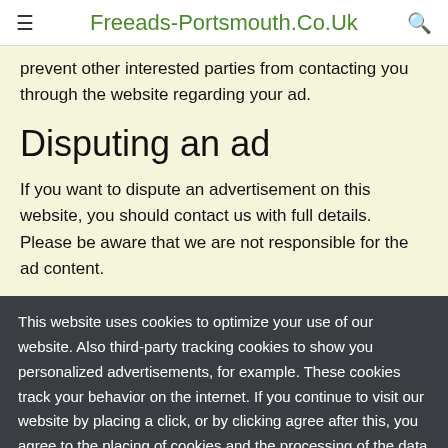Freeads-Portsmouth.Co.Uk
prevent other interested parties from contacting you through the website regarding your ad.
Disputing an ad
If you want to dispute an advertisement on this website, you should contact us with full details. Please be aware that we are not responsible for the ad content.
This website uses cookies to optimize your use of our website. Also third-party tracking cookies to show you personalized advertisements, for example. These cookies track your behavior on the internet. If you continue to visit our website by placing a click, or by clicking agree after this, you agree to the placing of cookies and the processing of the data that we and our partners obtain as a result. More information
OK